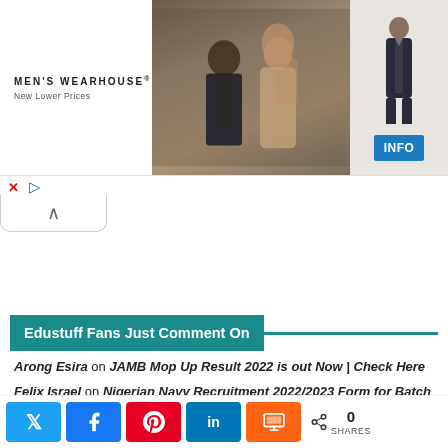[Figure (photo): Men's Wearhouse advertisement banner showing a couple in formalwear and a man in a suit, with an INFO button]
MEN'S WEARHOUSE® New Lower Prices
Edustuff Fans Just Comment On
Arong Esira on JAMB Mop Up Result 2022 is out Now | Check Here
Felix Israel on Nigerian Navy Recruitment 2022/2023 Form for Batch 34 | Apply Now
GÓD'STIME JAMESON AKACHUKWU on JAMB Cut Off Marks for 2022
0 SHARES